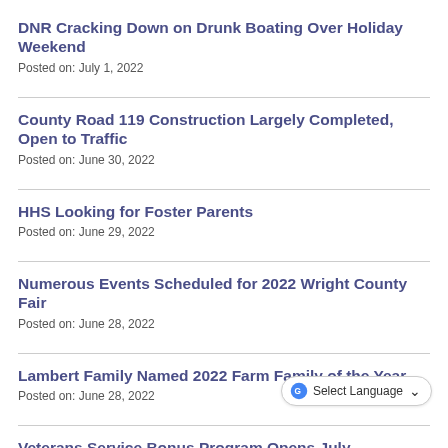DNR Cracking Down on Drunk Boating Over Holiday Weekend
Posted on: July 1, 2022
County Road 119 Construction Largely Completed, Open to Traffic
Posted on: June 30, 2022
HHS Looking for Foster Parents
Posted on: June 29, 2022
Numerous Events Scheduled for 2022 Wright County Fair
Posted on: June 28, 2022
Lambert Family Named 2022 Farm Family of the Year
Posted on: June 28, 2022
Veterans Service Bonus Program Opens July